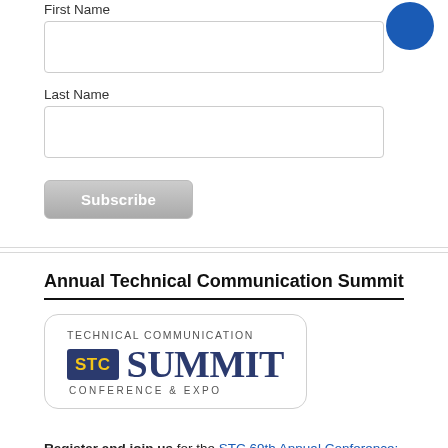First Name
Last Name
Subscribe
Annual Technical Communication Summit
[Figure (logo): STC Technical Communication Summit Conference & Expo logo with blue square STC badge and large SUMMIT text in dark blue]
Register and join us for the STC 69th Annual Conference: Technical Communication Summit 2022 at the Hyatt Regency O'Hare, in Rosemont, Illinois